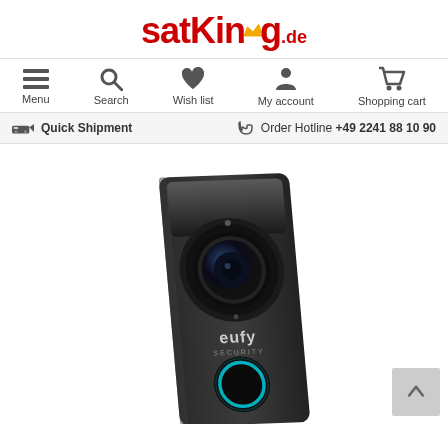satKing.de
Menu  Search  Wish list  My account  Shopping cart
Quick Shipment   Order Hotline +49 2241 88 10 90
[Figure (photo): Eufy Security video doorbell, black, with camera lens and illuminated circular button, shown at an angle]